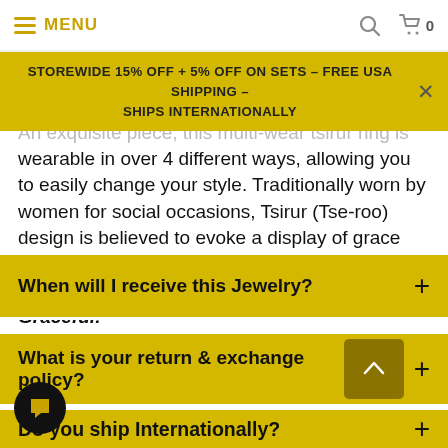MENU  🔍  🛒 0
STOREWIDE 15% OFF + 5% OFF ON SETS – FREE USA SHIPPING – SHIPS INTERNATIONALLY
An exquisite piece, this multi-wear tsirur ring is wearable in over 4 different ways, allowing you to easily change your style. Traditionally worn by women for social occasions, Tsirur (Tse-roo) design is believed to evoke a display of grace and dignity. Wear this piece to remind you, You Are Graceful!
When will I receive this Jewelry?
What is your return & exchange policy?
Do you ship Internationally?